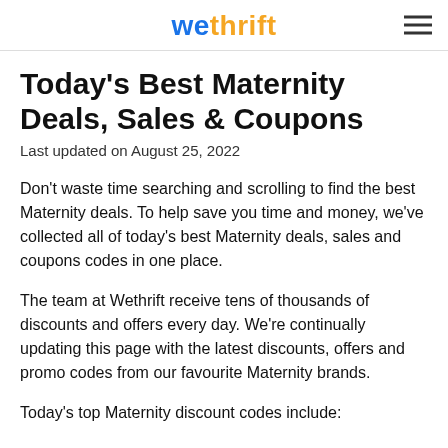wethrift
Today's Best Maternity Deals, Sales & Coupons
Last updated on August 25, 2022
Don't waste time searching and scrolling to find the best Maternity deals. To help save you time and money, we've collected all of today's best Maternity deals, sales and coupons codes in one place.
The team at Wethrift receive tens of thousands of discounts and offers every day. We're continually updating this page with the latest discounts, offers and promo codes from our favourite Maternity brands.
Today's top Maternity discount codes include: